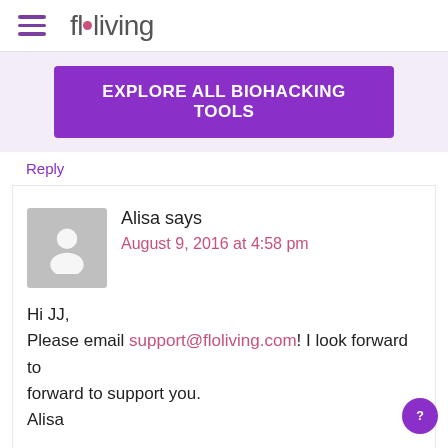floliving
EXPLORE ALL BIOHACKING TOOLS
Reply
Alisa says
August 9, 2016 at 4:58 pm
Hi JJ,
Please email support@floliving.com! I look forward to support you.
Alisa
Reply